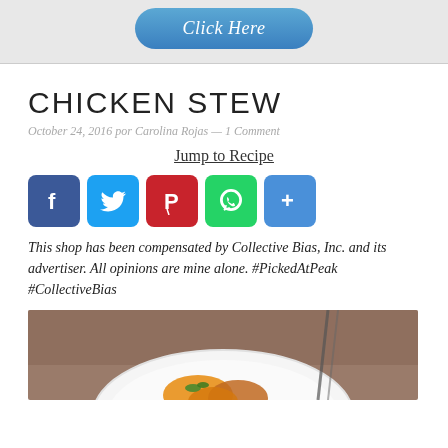[Figure (other): Blue pill-shaped 'Click Here' button on grey banner background]
CHICKEN STEW
October 24, 2016 por Carolina Rojas — 1 Comment
Jump to Recipe
[Figure (infographic): Social sharing icons: Facebook (blue), Twitter (light blue), Pinterest (red), WhatsApp (green), Share (blue)]
This shop has been compensated by Collective Bias, Inc. and its advertiser. All opinions are mine alone. #PickedAtPeak #CollectiveBias
[Figure (photo): Food photo showing a white plate with chicken stew, partial view at bottom of page]